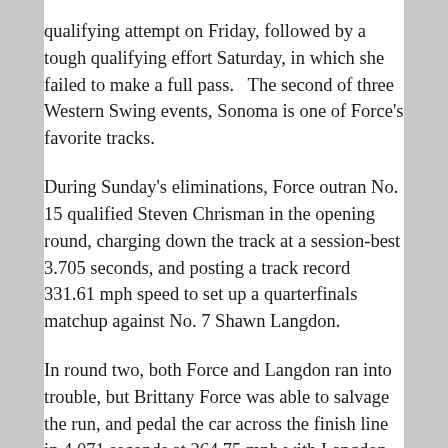qualifying attempt on Friday, followed by a tough qualifying effort Saturday, in which she failed to make a full pass.   The second of three Western Swing events, Sonoma is one of Force's favorite tracks.
During Sunday's eliminations, Force outran No. 15 qualified Steven Chrisman in the opening round, charging down the track at a session-best 3.705 seconds, and posting a track record 331.61 mph speed to set up a quarterfinals matchup against No. 7 Shawn Langdon.
In round two, both Force and Langdon ran into trouble, but Brittany Force was able to salvage the run, and pedal the car across the finish line in 4.071 seconds at 264.75 mph with Langdon